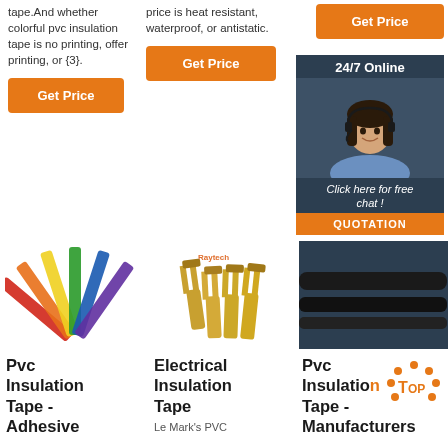tape.And whether colorful pvc insulation tape is no printing, offer printing, or {3}.
price is heat resistant, waterproof, or antistatic.
Get Price
Get Price
Get Price
24/7 Online
Click here for free chat !
QUOTATION
[Figure (photo): Fan-shaped arrangement of colorful nylon cable ties in multiple colors including red, orange, yellow, green, blue]
[Figure (photo): Raytech branded yellow electrical insulation fork/spade terminals, four pieces shown]
[Figure (photo): Online customer service representative - smiling woman with headset]
Pvc Insulation Tape - Adhesive
Electrical Insulation Tape
Pvc Insulation Tape - Manufacturers
Le Mark's PVC